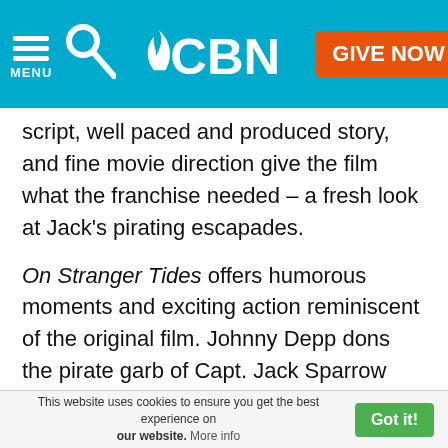CBN — GIVE NOW
script, well paced and produced story, and fine movie direction give the film what the franchise needed – a fresh look at Jack's pirating escapades.
On Stranger Tides offers humorous moments and exciting action reminiscent of the original film. Johnny Depp dons the pirate garb of Capt. Jack Sparrow once again; and he does it brilliantly. He is on-point throughout, as usual. Joining Depp on-screen are Pirates of the Caribbean newcomers actress Penelope Cruz as Angelica and actor Ian McShane as Blackbeard. Geoffrey Rush and Kevin McNally reprise their roles as Capt. Barbossa and Jack's first-mate Gibbs.
This website uses cookies to ensure you get the best experience on our website. More info  Got it!